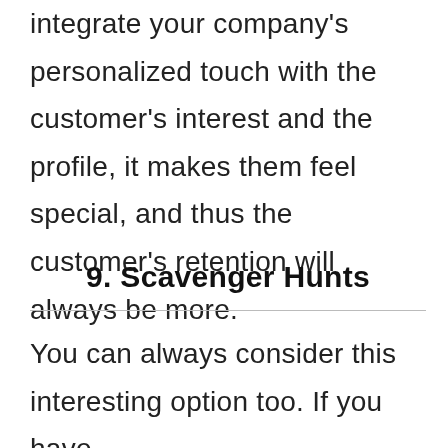integrate your company's personalized touch with the customer's interest and the profile, it makes them feel special, and thus the customer's retention will always be more.
9. Scavenger Hunts
You can always consider this interesting option too. If you have